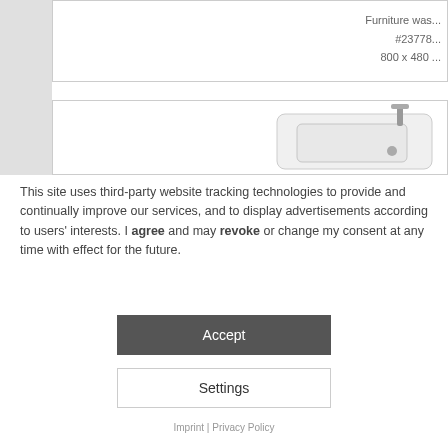[Figure (screenshot): Partial screenshot of a product listing page showing furniture washbasin item #23778, 800x480, with a white washbasin image visible at right edge]
This site uses third-party website tracking technologies to provide and continually improve our services, and to display advertisements according to users' interests. I agree and may revoke or change my consent at any time with effect for the future.
Accept
Settings
Imprint | Privacy Policy